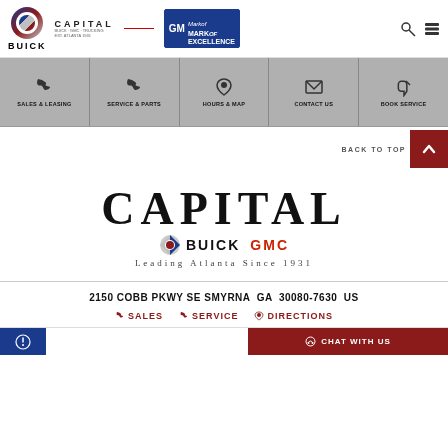[Figure (logo): Capital Buick GMC dealer website header with Buick logo, Capital dealer branding, and GM Mark of Excellence badge]
[Figure (infographic): Navigation bar with 5 sections: Sales & Leasing (phone icon), Service & Parts (phone icon), Hours & Map (location pin icon), Contact Us (envelope icon), Book Service (wrench icon)]
BACK TO TOP
[Figure (logo): CAPITAL BUICK GMC - Leading Atlanta Since 1931 logo]
2150 COBB PKWY SE SMYRNA GA 30080-7630 US
SALES  SERVICE  DIRECTIONS
CHAT WITH US